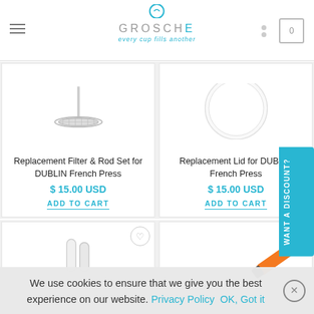GROSCHE - every cup fills another
[Figure (photo): Replacement Filter & Rod Set for DUBLIN French Press product image]
Replacement Filter & Rod Set for DUBLIN French Press
$ 15.00 USD
ADD TO CART
[Figure (photo): Replacement Lid for DUBLIN French Press product image]
Replacement Lid for DUBLIN French Press
$ 15.00 USD
ADD TO CART
[Figure (photo): Product image bottom left - white candles/tubes]
[Figure (photo): Product image bottom right - orange marker]
WANT A DISCOUNT?
We use cookies to ensure that we give you the best experience on our website. Privacy Policy  OK, Got it